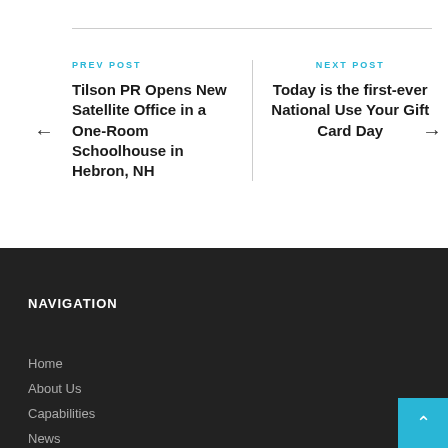PREV POST
Tilson PR Opens New Satellite Office in a One-Room Schoolhouse in Hebron, NH
NEXT POST
Today is the first-ever National Use Your Gift Card Day
NAVIGATION
Home
About Us
Capabilities
News